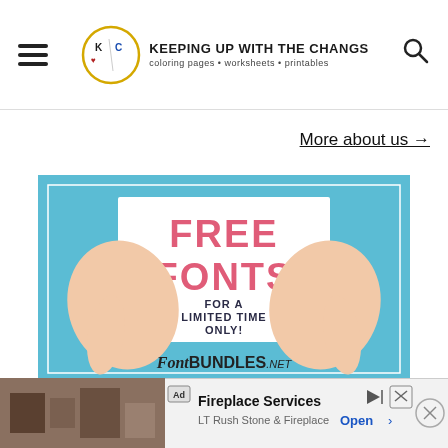KEEPING UP WITH THE CHANGS — coloring pages • worksheets • printables
More about us →
[Figure (illustration): FontBundles.net advertisement showing two hands holding a white paper sign that reads 'FREE FONTS FOR A LIMITED TIME ONLY!' on a light blue background, with the FontBundles.net logo at the bottom.]
[Figure (illustration): Bottom advertisement banner with 'Ad' label, fireplace image, text 'Fireplace Services' and 'LT Rush Stone & Fireplace', and 'Open' call-to-action button with share and close icons.]